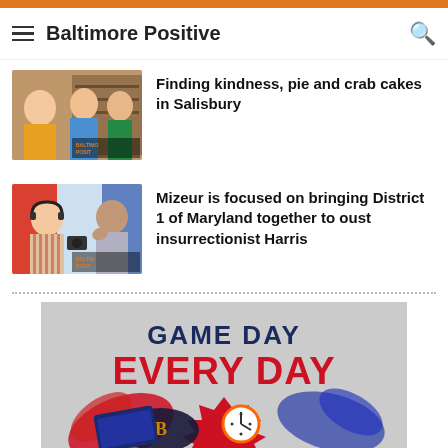Baltimore Positive
[Figure (photo): Two people in a studio setting, one wearing a colorful shirt, with Baltimore Positive logo watermark]
Finding kindness, pie and crab cakes in Salisbury
[Figure (photo): Two people in a podcast studio, one with headphones and striped shirt, with Baltimore Positive logo watermark]
Mizeur is focused on bringing District 1 of Maryland together to oust insurrectionist Harris
[Figure (infographic): Game Day Every Day advertisement banner with Baltimore Ravens logo and lottery card imagery]